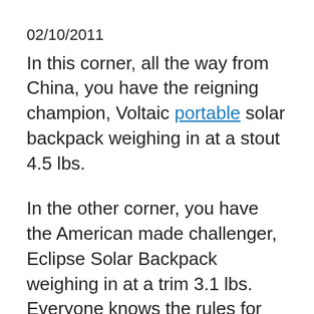02/10/2011
In this corner, all the way from China, you have the reigning champion, Voltaic portable solar backpack weighing in at a stout 4.5 lbs.
In the other corner, you have the American made challenger, Eclipse Solar Backpack weighing in at a trim 3.1 lbs. Everyone knows the rules for this solar backpack match up? Let the solar backpack smack down begin.
The Voltaic solar backpack has held the top spot for a couple of years now in the portable solar backpack market. But that is about to